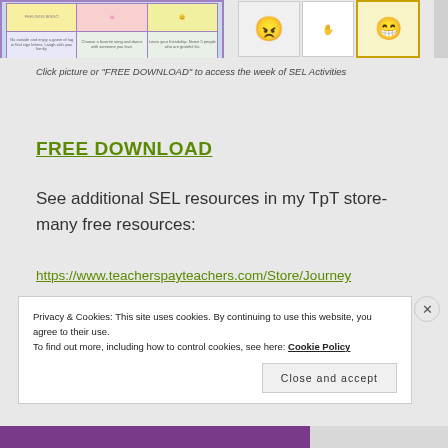[Figure (screenshot): Screenshot of SEL activity cards arranged in a grid with emoji faces and activity images on the left, and separate activity cards on the right including balloon popping activity.]
Click picture or “FREE DOWNLOAD” to access the week of SEL Activities
FREE DOWNLOAD
See additional SEL resources in my TpT store- many free resources:
https://www.teacherspayteachers.com/Store/Journey
Privacy & Cookies: This site uses cookies. By continuing to use this website, you agree to their use.
To find out more, including how to control cookies, see here: Cookie Policy
Close and accept